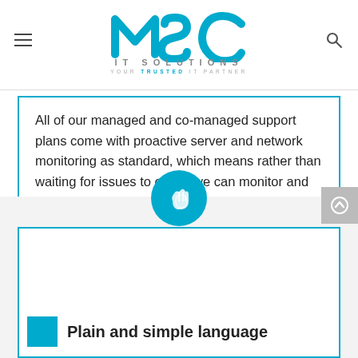MSC IT SOLUTIONS — YOUR TRUSTED IT PARTNER
All of our managed and co-managed support plans come with proactive server and network monitoring as standard, which means rather than waiting for issues to occur, we can monitor and fix issues remotely and before any noticeable issues to your staff and students.  This means you can sleep easy at night knowing your servers and network are in safe hands.
[Figure (logo): Circular teal icon with a hand/network symbol]
Plain and simple language